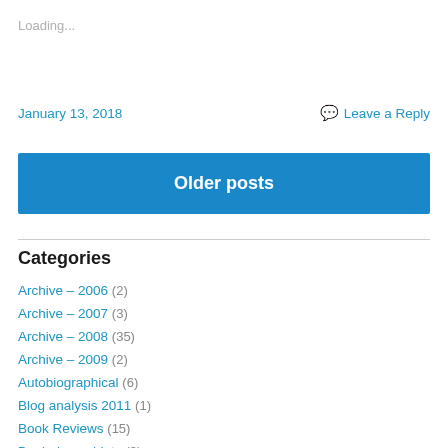Loading...
January 13, 2018
Leave a Reply
Older posts
Categories
Archive – 2006 (2)
Archive – 2007 (3)
Archive – 2008 (35)
Archive – 2009 (2)
Autobiographical (6)
Blog analysis 2011 (1)
Book Reviews (15)
Books/pamphlets (3)